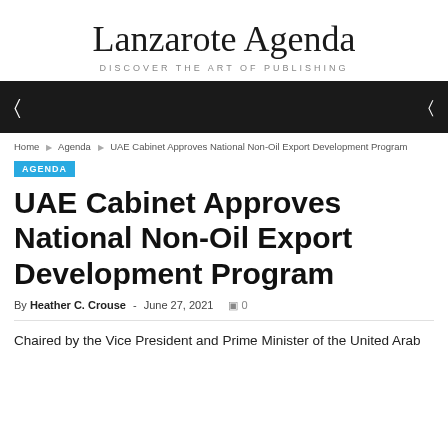Lanzarote Agenda
DISCOVER THE ART OF PUBLISHING
Home > Agenda > UAE Cabinet Approves National Non-Oil Export Development Program
AGENDA
UAE Cabinet Approves National Non-Oil Export Development Program
By Heather C. Crouse - June 27, 2021  0
Chaired by the Vice President and Prime Minister of the United Arab